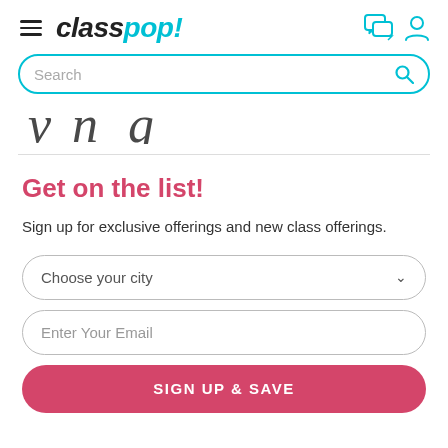classpop! — navigation header with hamburger menu, logo, chat icon, user icon
Search
[Figure (screenshot): Partially visible decorative cursive/script text, cropped at top]
Get on the list!
Sign up for exclusive offerings and new class offerings.
Choose your city
Enter Your Email
SIGN UP & SAVE